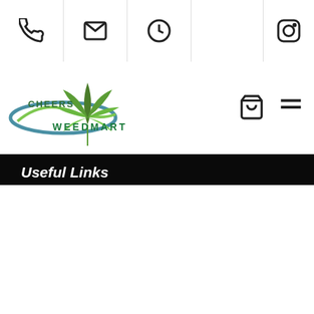[Navigation bar with phone, email, clock icons and Instagram icon]
[Figure (logo): Cheers Weed Mart logo with cannabis leaf and swoosh design]
Useful Links
Faqs
About Us
Contact Us
My account
Contact Us
Products
what is promethazine